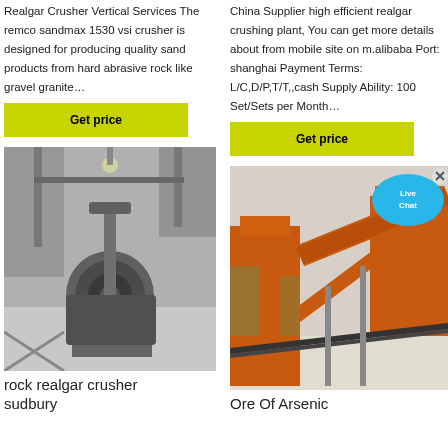Realgar Crusher Vertical Services The remco sandmax 1530 vsi crusher is designed for producing quality sand products from hard abrasive rock like gravel granite…
China Supplier high efficient realgar crushing plant, You can get more details about from mobile site on m.alibaba Port: shanghai Payment Terms: L/C,D/P,T/T,,cash Supply Ability: 100 Set/Sets per Month…
Get price
Get price
[Figure (photo): Grayscale industrial photo of a rock crusher machine with motor and equipment in a facility]
[Figure (photo): Orange industrial crushing plant with conveyor belts and pipes at an outdoor site]
rock realgar crusher sudbury
Ore Of Arsenic